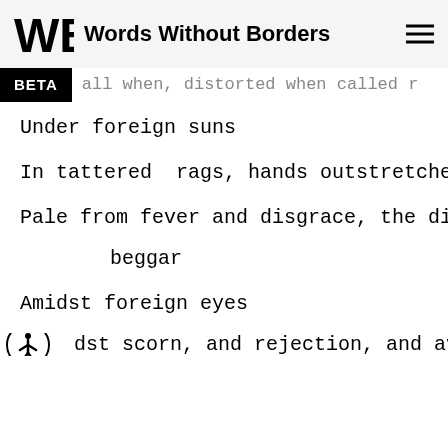Words Without Borders
BETA
Under foreign suns
In tattered  rags, hands outstretched, d
Pale from fever and disgrace, the disgra
beggar
Amidst foreign eyes
dst scorn, and rejection, and aversio